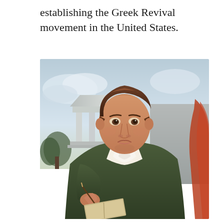establishing the Greek Revival movement in the United States.
[Figure (illustration): Oil painting portrait of a young man in early 19th-century attire — dark olive green coat, white cravat — holding a pencil and sketchbook, with a classical Greek temple with columns in the background.]